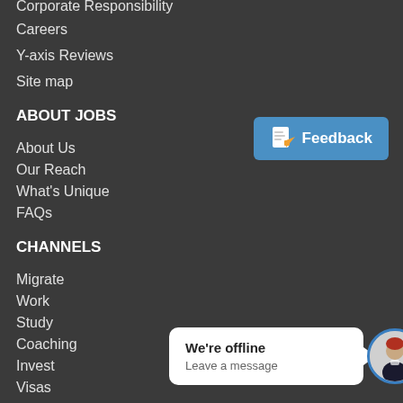Corporate Responsibility
Careers
Y-axis Reviews
Site map
ABOUT JOBS
About Us
Our Reach
What's Unique
FAQs
CHANNELS
Migrate
Work
Study
Coaching
Invest
Visas
Services
FOLLOW US
[Figure (screenshot): Feedback button with document icon on blue background]
[Figure (infographic): Chat widget showing 'We're offline. Leave a message.' with avatar]